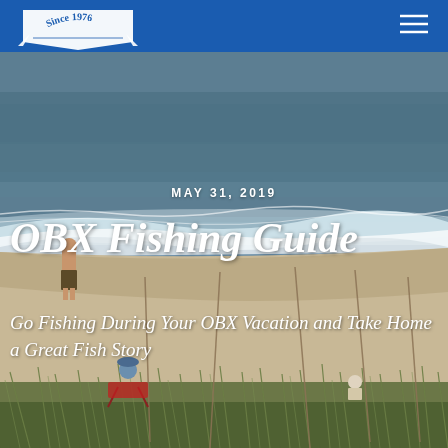Since 1976
[Figure (photo): Beach scene at Outer Banks (OBX) with ocean waves, a man standing at the water's edge, fishing rods planted in the sand, beach chairs, and sea grass in the foreground]
MAY 31, 2019
OBX Fishing Guide
Go Fishing During Your OBX Vacation and Take Home a Great Fish Story